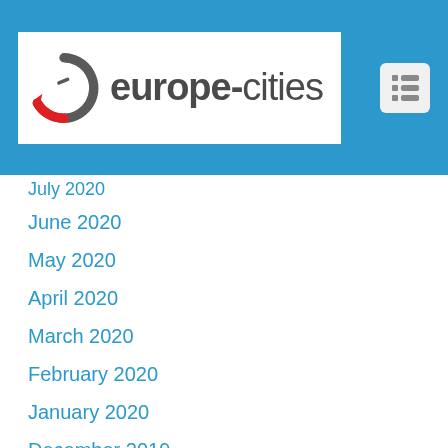[Figure (logo): europe-cities logo with circular arrow icon in grey and red, on white background within blue header bar]
July 2020
June 2020
May 2020
April 2020
March 2020
February 2020
January 2020
December 2019
November 2019
October 2019
September 2019
August 2019
July 2019